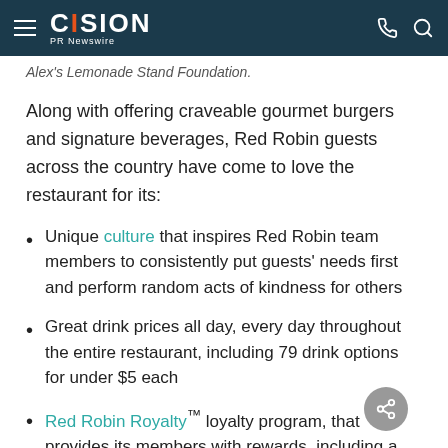CISION PR Newswire
Alex's Lemonade Stand Foundation.
Along with offering craveable gourmet burgers and signature beverages, Red Robin guests across the country have come to love the restaurant for its:
Unique culture that inspires Red Robin team members to consistently put guests' needs first and perform random acts of kindness for others
Great drink prices all day, every day throughout the entire restaurant, including 79 drink options for under $5 each
Red Robin Royalty™ loyalty program, that provides its members with rewards, including a